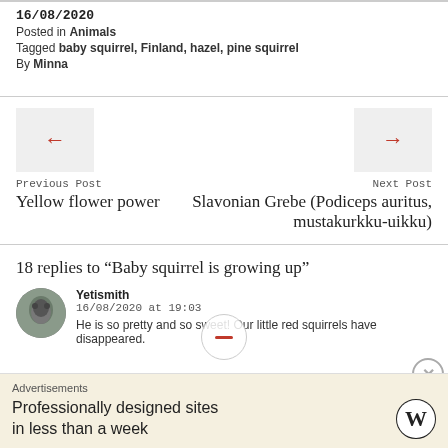16/08/2020
Posted in Animals
Tagged baby squirrel, Finland, hazel, pine squirrel
By Minna
Previous Post
Yellow flower power
Next Post
Slavonian Grebe (Podiceps auritus, mustakurkku-uikku)
18 replies to “Baby squirrel is growing up”
Yetismith
16/08/2020 at 19:03
He is so pretty and so sweet! Our little red squirrels have disappeared. Don’t know why.
Advertisements
Professionally designed sites in less than a week